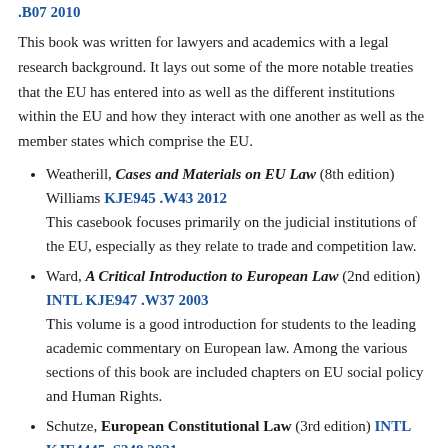.B07 2010 (partial, blue link at top)
This book was written for lawyers and academics with a legal research background. It lays out some of the more notable treaties that the EU has entered into as well as the different institutions within the EU and how they interact with one another as well as the member states which comprise the EU.
Weatherill, Cases and Materials on EU Law (8th edition) Williams KJE945 .W43 2012
This casebook focuses primarily on the judicial institutions of the EU, especially as they relate to trade and competition law.
Ward, A Critical Introduction to European Law (2nd edition) INTL KJE947 .W37 2003
This volume is a good introduction for students to the leading academic commentary on European law. Among the various sections of this book are included chapters on EU social policy and Human Rights.
Schutze, European Constitutional Law (3rd edition) INTL KJE4445 .S348 2021